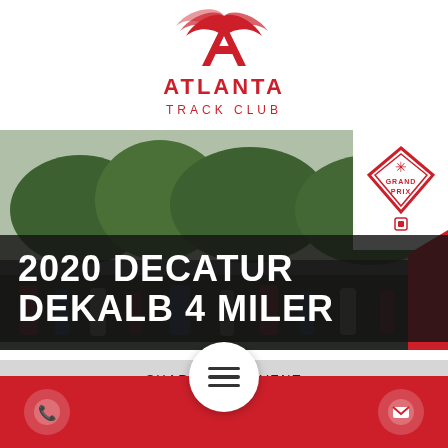[Figure (logo): Atlanta Track Club logo: red winged letter A with 'ATLANTA TRACK CLUB' text below in red]
[Figure (photo): Hero image: crowd of runners at a race event with trees in the background and a Grand Prix badge overlay in upper right]
2020 DECATUR DEKALB 4 MILER
SHARE THIS EVENT
[Figure (infographic): Social sharing icons: Facebook, email/envelope icons in red, with a hamburger menu button in the center]
[Figure (infographic): Red footer bar with phone icon circle on left and envelope icon circle on right, and central hamburger menu button]